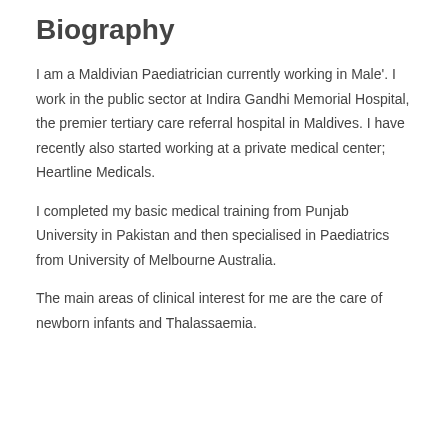Biography
I am a Maldivian Paediatrician currently working in Male'. I work in the public sector at Indira Gandhi Memorial Hospital, the premier tertiary care referral hospital in Maldives. I have recently also started working at a private medical center; Heartline Medicals.
I completed my basic medical training from Punjab University in Pakistan and then specialised in Paediatrics from University of Melbourne Australia.
The main areas of clinical interest for me are the care of newborn infants and Thalassaemia.